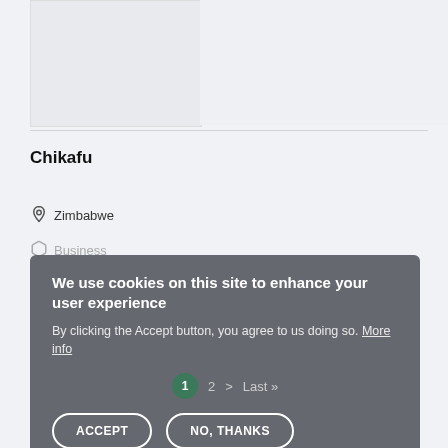[Figure (photo): Thumbnail image placeholder, light grey box on left]
[Figure (photo): Larger light grey image area on right]
Chikafu
Zimbabwe
Business
We use cookies on this site to enhance your user experience
By clicking the Accept button, you agree to us doing so. More info
ACCEPT   NO, THANKS